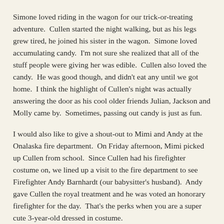Simone loved riding in the wagon for our trick-or-treating adventure.  Cullen started the night walking, but as his legs grew tired, he joined his sister in the wagon.  Simone loved accumulating candy.  I'm not sure she realized that all of the stuff people were giving her was edible.  Cullen also loved the candy.  He was good though, and didn't eat any until we got home.  I think the highlight of Cullen's night was actually answering the door as his cool older friends Julian, Jackson and Molly came by.  Sometimes, passing out candy is just as fun.
I would also like to give a shout-out to Mimi and Andy at the Onalaska fire department.  On Friday afternoon, Mimi picked up Cullen from school.  Since Cullen had his firefighter costume on, we lined up a visit to the fire department to see Firefighter Andy Barnhardt (our babysitter's husband).  Andy gave Cullen the royal treatment and he was voted an honorary firefighter for the day.  That's the perks when you are a super cute 3-year-old dressed in costume.